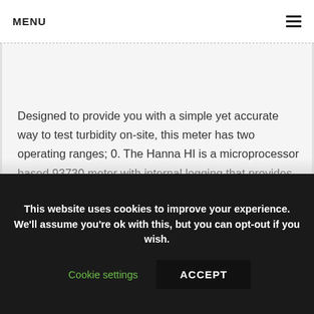MENU
Designed to provide you with a simple yet accurate way to test turbidity on-site, this meter has two operating ranges; 0. The Hanna HI is a microprocessor based 93730 meter with internal logging that provides laboratory precision for field turbidity measurements.
This website uses cookies to improve your experience. We'll assume you're ok with this, but you can opt-out if you wish.
Cookie settings
ACCEPT